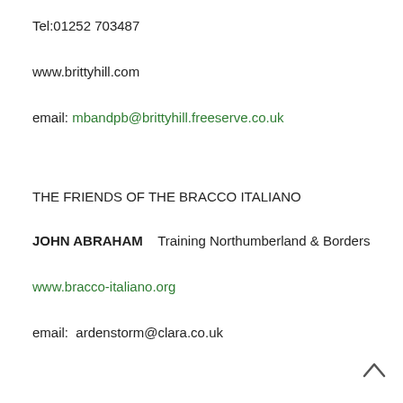Tel:01252 703487
www.brittyhill.com
email: mbandpb@brittyhill.freeserve.co.uk
THE FRIENDS OF THE BRACCO ITALIANO
JOHN ABRAHAM    Training Northumberland & Borders
www.bracco-italiano.org
email:  ardenstorm@clara.co.uk
THE HUNT POINT RETREIVE GUNDOG ASSOCIATION
WORKING SEC: MARK FIRMIN